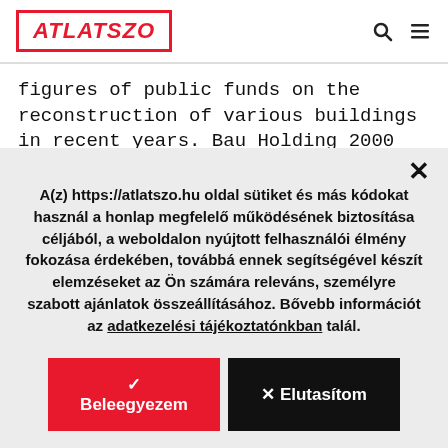ATLATSZO
figures of public funds on the reconstruction of various buildings in recent years. Bau Holding 2000 Zrt, the company chosen to do most of this work is now under liquidation. This...
A(z) https://atlatszo.hu oldal sütiket és más kódokat használ a honlap megfelelő működésének biztosítása céljából, a weboldalon nyújtott felhasználói élmény fokozása érdekében, továbbá ennek segítségével készít elemzéseket az Ön számára releváns, személyre szabott ajánlatok összeállításához. Bővebb információt az adatkezelési tájékoztatónkban talál.
✓ Beleegyezem
✕ Elutasítom